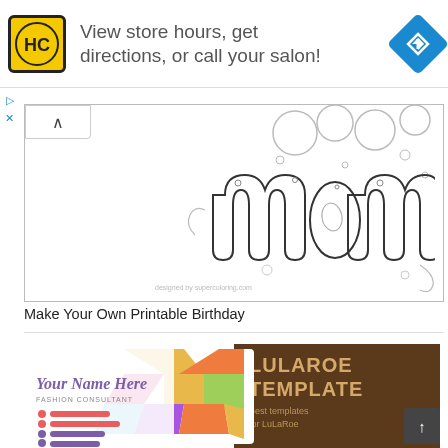[Figure (screenshot): Advertisement banner: HC logo (yellow with black text), text 'View store hours, get directions, or call your salon!', blue diamond navigation icon on right]
[Figure (screenshot): Coloring page thumbnail showing 'mom' text in decorative bubble letters with ornamental swirls and circles, black and white line art]
Make Your Own Printable Birthday
[Figure (screenshot): LuLaRoe business card template showing 'Your Name Here' as fashion consultant with colorful geometric pattern, alongside brown leather background with 'LULAROE TEMPLATE' text and 'Best templates for LuLaRoe']